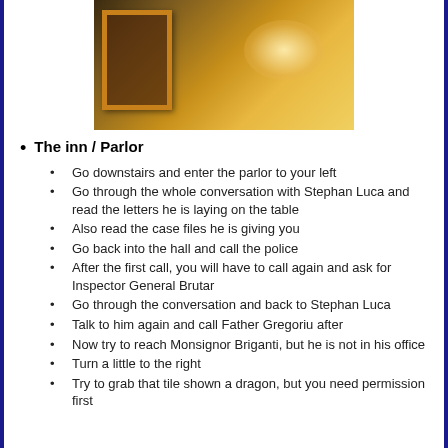[Figure (photo): Dark interior room photo showing a gold-framed mirror on the left and a bright light source illuminating a warm yellow-orange wall on the right]
The inn / Parlor
Go downstairs and enter the parlor to your left
Go through the whole conversation with Stephan Luca and read the letters he is laying on the table
Also read the case files he is giving you
Go back into the hall and call the police
After the first call, you will have to call again and ask for Inspector General Brutar
Go through the conversation and back to Stephan Luca
Talk to him again and call Father Gregoriu after
Now try to reach Monsignor Briganti, but he is not in his office
Turn a little to the right
Try to grab that tile shown a dragon, but you need permission first